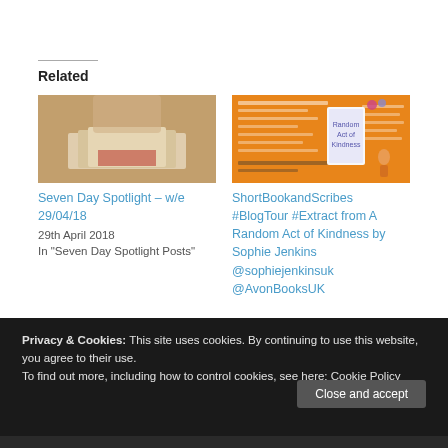Related
[Figure (photo): A person holding open a stack of books, warm tinted photo]
Seven Day Spotlight – w/e 29/04/18
29th April 2018
In "Seven Day Spotlight Posts"
[Figure (photo): Orange promotional blog tour banner for 'A Random Act of Kindness' by Sophie Jenkins]
ShortBookandScribes #BlogTour #Extract from A Random Act of Kindness by Sophie Jenkins @sophiejenkinsuk @AvonBooksUK
Privacy & Cookies: This site uses cookies. By continuing to use this website, you agree to their use.
To find out more, including how to control cookies, see here: Cookie Policy
Close and accept
Follow